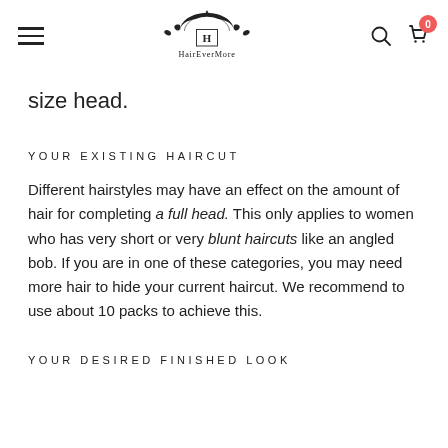HairEverMore
size head.
YOUR EXISTING HAIRCUT
Different hairstyles may have an effect on the amount of hair for completing a full head. This only applies to women who has very short or very blunt haircuts like an angled bob. If you are in one of these categories, you may need more hair to hide your current haircut. We recommend to use about 10 packs to achieve this.
YOUR DESIRED FINISHED LOOK